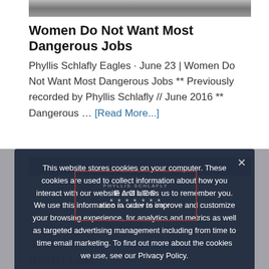[Figure (photo): Partial top image strip, black and white photo]
Women Do Not Want Most Dangerous Jobs
Phyllis Schlafly Eagles · June 23 | Women Do Not Want Most Dangerous Jobs ** Previously recorded by Phyllis Schlafly // June 2016 ** Dangerous … [Read More...]
[Figure (screenshot): Cookie consent overlay with Phyllis Schlafly Eagles logo and buttons Accept and Privacy policy]
Judge Strikes Down California's Sexist Law